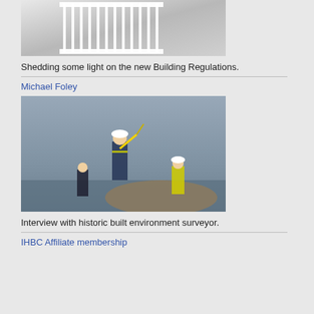[Figure (photo): Interior photo of a white staircase railing viewed from below looking up]
Shedding some light on the new Building Regulations.
Michael Foley
[Figure (photo): Person in hard hat and hi-vis vest standing on top of a large round structure holding a decorative piece, with two other workers in hi-vis vests and hard hats nearby, cloudy sky and water in background]
Interview with historic built environment surveyor.
IHBC Affiliate membership